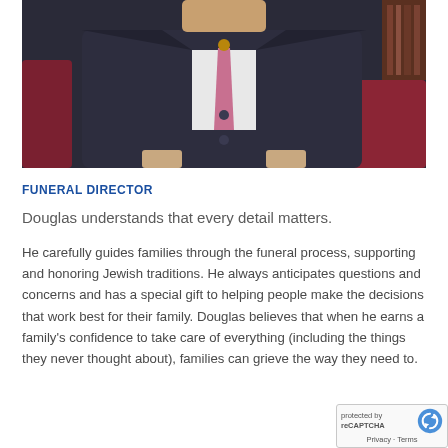[Figure (photo): A man in a dark suit sitting in a red/burgundy chair, wearing a pink tie and what appears to be a necklace or medallion. Only his torso and lower face are visible.]
FUNERAL DIRECTOR
Douglas understands that every detail matters.
He carefully guides families through the funeral process, supporting and honoring Jewish traditions. He always anticipates questions and concerns and has a special gift to helping people make the decisions that work best for their family. Douglas believes that when he earns a family's confidence to take care of everything (including the things they never thought about), families can grieve the way they need to.